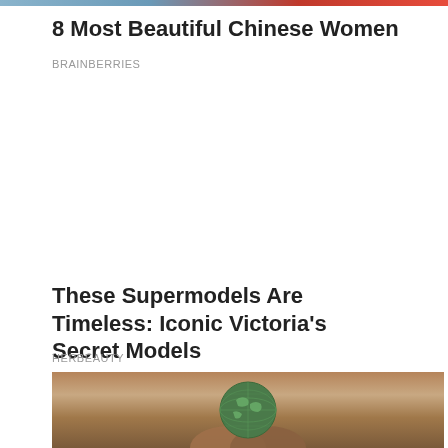[Figure (photo): Colorful image strip at the top of the page showing a partial photo]
8 Most Beautiful Chinese Women
BRAINBERRIES
[Figure (other): Ad placeholder area with Ad label badge in bottom right]
These Supermodels Are Timeless: Iconic Victoria's Secret Models
HERBEAUTY
[Figure (photo): Hands holding a green globe/earth model]